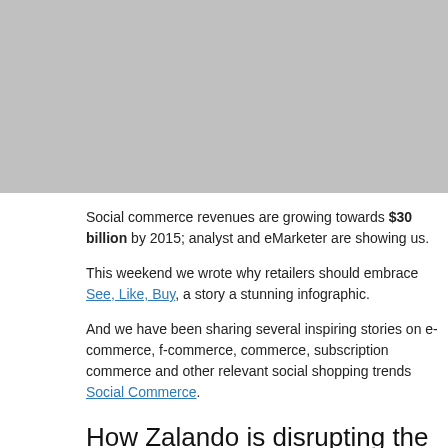[Figure (photo): Gray placeholder image at top of page]
Social commerce revenues are growing towards $30 billion by 2015; analyst and eMarketer are showing us.
This weekend we wrote why retailers should embrace See, Like, Buy, a story a stunning infographic.
And we have been sharing several inspiring stories on e-commerce, f-commerce, commerce, subscription commerce and other relevant social shopping trends Social Commerce.
How Zalando is disrupting the fashion marketplace?